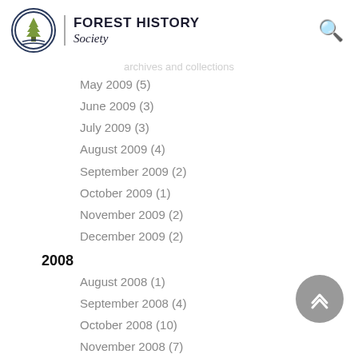Forest History Society
May 2009 (5)
June 2009 (3)
July 2009 (3)
August 2009 (4)
September 2009 (2)
October 2009 (1)
November 2009 (2)
December 2009 (2)
2008
August 2008 (1)
September 2008 (4)
October 2008 (10)
November 2008 (7)
December 2008 (4)